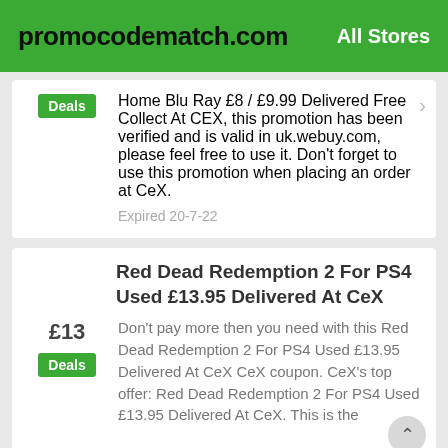promocodematch.com | All Stores
Home Blu Ray £8 / £9.99 Delivered Free Collect At CEX, this promotion has been verified and is valid in uk.webuy.com, please feel free to use it. Don't forget to use this promotion when placing an order at CeX.
Expired 20-7-22
Red Dead Redemption 2 For PS4 Used £13.95 Delivered At CeX
Don't pay more then you need with this Red Dead Redemption 2 For PS4 Used £13.95 Delivered At CeX CeX coupon. CeX's top offer: Red Dead Redemption 2 For PS4 Used £13.95 Delivered At CeX. This is the